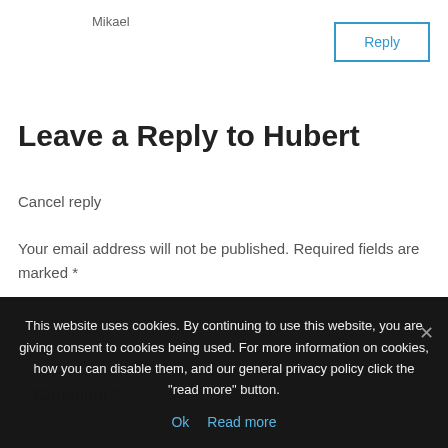Mikael
Reply
Leave a Reply to Hubert
Cancel reply
Your email address will not be published. Required fields are marked *
Comment *
This website uses cookies. By continuing to use this website, you are giving consent to cookies being used. For more information on cookies, how you can disable them, and our general privacy policy click the "read more" button.
Ok   Read more